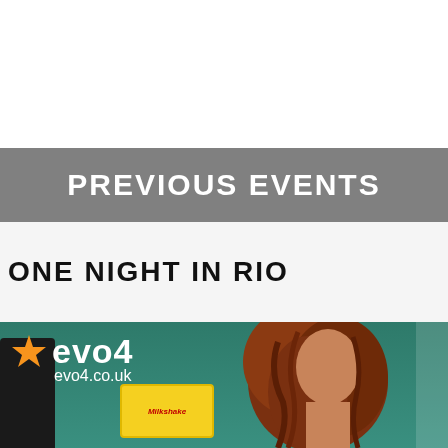PREVIOUS EVENTS
ONE NIGHT IN RIO
[Figure (photo): Event photo showing a woman with curly auburn hair, with the evo4 / evo4.co.uk logo visible in the top left corner over a teal/green background, and what appears to be a yellow Milkshake sign in the lower left area]